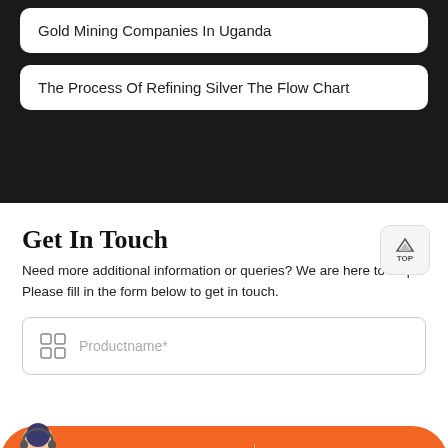Gold Mining Companies In Uganda
The Process Of Refining Silver The Flow Chart
Get In Touch
Need more additional information or queries? We are here to help. Please fill in the form below to get in touch.
Productname*
Message
Online Chat